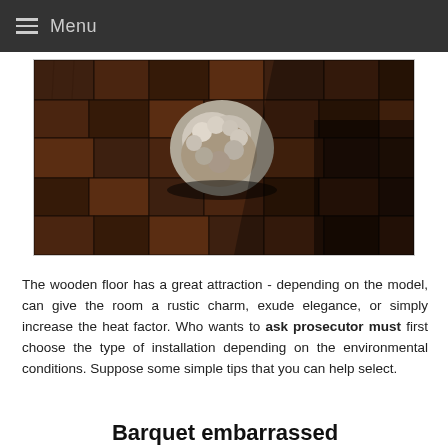Menu
[Figure (photo): Aerial view of dark wood parquet flooring panels with a fluffy white/grey object (possibly a sheepskin rug or stone) placed in the center of the wooden floor tiles.]
The wooden floor has a great attraction - depending on the model, can give the room a rustic charm, exude elegance, or simply increase the heat factor. Who wants to ask prosecutor must first choose the type of installation depending on the environmental conditions. Suppose some simple tips that you can help select.
Barquet embarrassed